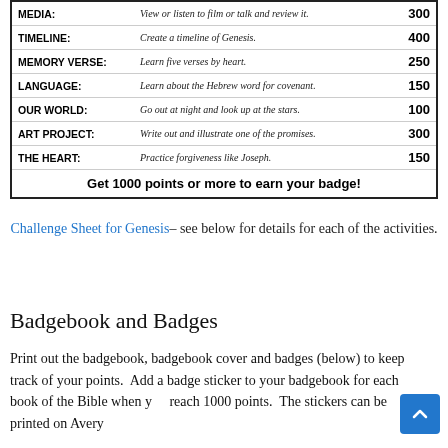| Category | Description | Points |
| --- | --- | --- |
| MEDIA: | View or listen to film or talk and review it. | 300 |
| TIMELINE: | Create a timeline of Genesis. | 400 |
| MEMORY VERSE: | Learn five verses by heart. | 250 |
| LANGUAGE: | Learn about the Hebrew word for covenant. | 150 |
| OUR WORLD: | Go out at night and look up at the stars. | 100 |
| ART PROJECT: | Write out and illustrate one of the promises. | 300 |
| THE HEART: | Practice forgiveness like Joseph. | 150 |
| Get 1000 points or more to earn your badge! |  |  |
Challenge Sheet for Genesis– see below for details for each of the activities.
Badgebook and Badges
Print out the badgebook, badgebook cover and badges (below) to keep track of your points.  Add a badge sticker to your badgebook for each book of the Bible when you reach 1000 points.  The stickers can be printed on Avery